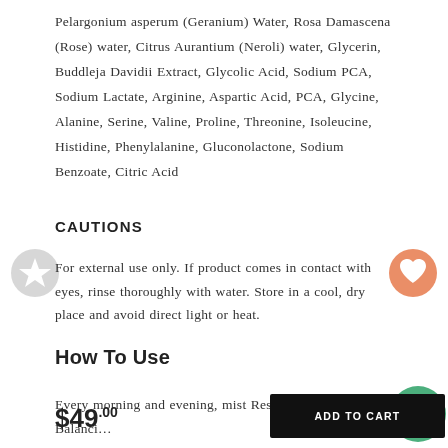Pelargonium asperum (Geranium) Water, Rosa Damascena (Rose) water, Citrus Aurantium (Neroli) water, Glycerin, Buddleja Davidii Extract, Glycolic Acid, Sodium PCA, Sodium Lactate, Arginine, Aspartic Acid, PCA, Glycine, Alanine, Serine, Valine, Proline, Threonine, Isoleucine, Histidine, Phenylalanine, Gluconolactone, Sodium Benzoate, Citric Acid
CAUTIONS
For external use only. If product comes in contact with eyes, rinse thoroughly with water. Store in a cool, dry place and avoid direct light or heat.
How To Use
Every morning and evening, mist Restorative & pH Balanci...
$49.00
ADD TO CART